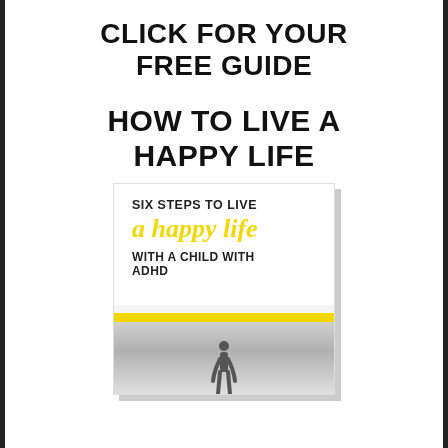CLICK FOR YOUR FREE GUIDE
HOW TO LIVE A HAPPY LIFE
[Figure (illustration): Book cover showing 'SIX STEPS TO LIVE a happy life WITH A CHILD WITH ADHD' with a yellow stripe and a black and white photo of a person walking]